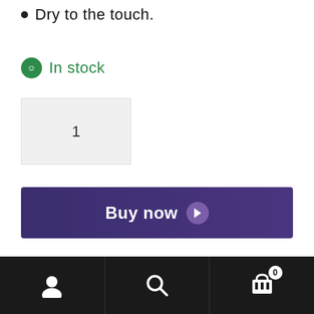Dry to the touch.
In stock
1
Buy now
— OR —
Add to cart
Add to wishlist
0